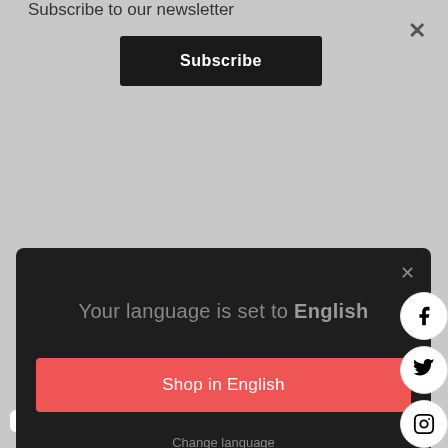Subscribe to our newsletter
Subscribe
[Figure (screenshot): Dark modal popup with language selector. Text: 'Your language is set to English', a red 'Shop in English' button, and a 'Change language' link.]
Your language is set to English
Shop in English
Change language
[Figure (infographic): Social media icons on right side: Facebook, Twitter, Instagram, and a blue power/accessibility icon.]
6-3.Duration/Times
s the time for one STEADY mode ring. Usually it range from 10s~30mins. TIMES: It is the repeated times of IMPULSE mode.